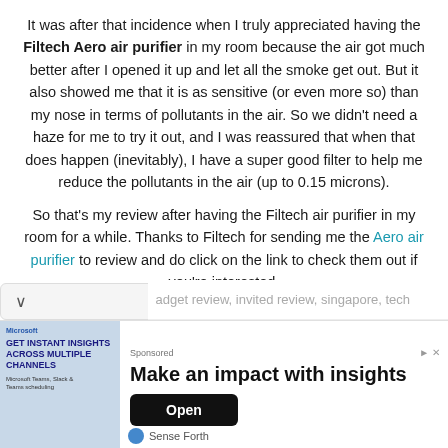It was after that incidence when I truly appreciated having the Filtech Aero air purifier in my room because the air got much better after I opened it up and let all the smoke get out. But it also showed me that it is as sensitive (or even more so) than my nose in terms of pollutants in the air. So we didn't need a haze for me to try it out, and I was reassured that when that does happen (inevitably), I have a super good filter to help me reduce the pollutants in the air (up to 0.15 microns).
So that's my review after having the Filtech air purifier in my room for a while. Thanks to Filtech for sending me the Aero air purifier to review and do click on the link to check them out if you're interested.
gadget review, invited review, singapore, tech
[Figure (other): Advertisement banner: Make an impact with insights - Sense Forth, with Open button]